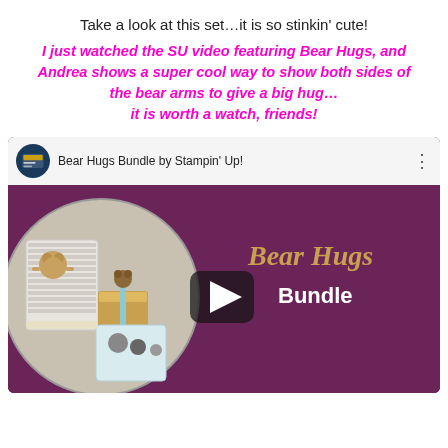Take a look at this set…it is so stinkin' cute!
I just watched the SU video featuring Bear Hugs, and Andrea shows a super cool way to show both sides of the bear arms to give a big hug… it is worth a watch, friends!
[Figure (screenshot): YouTube video thumbnail for 'Bear Hugs Bundle by Stampin' Up!' showing a circular collage of stamped bear cards and projects on a dark magenta/plum background, with Bear Hugs Bundle script text in gold and white, and a play button overlay.]